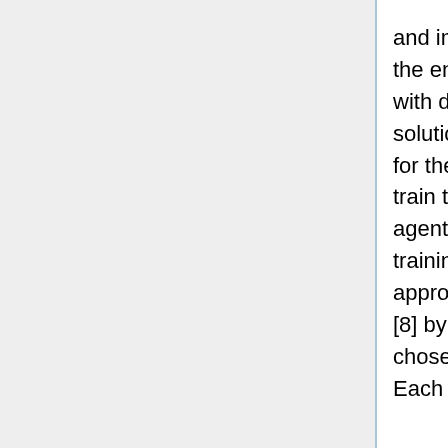and image size. It works like an iterative behavior interacting with the environment. The environment is exposed to different images with different virtual redundant information that needs an adaptive solution for each image to select the suitable compression level for the model. Thus, they design an explore-exploit mechanism to train the agent on different scenery which is designed in deep Q agent as an inference-estimate-retain mechanism to restart the training procedure for each image. The authors verify their approach by providing some analysis and insight using Grad-Cam [8] by showing some patterns of how a compression level is chosen for each image with its own corresponding quality factor. Each image shows a different response when shown to a deep